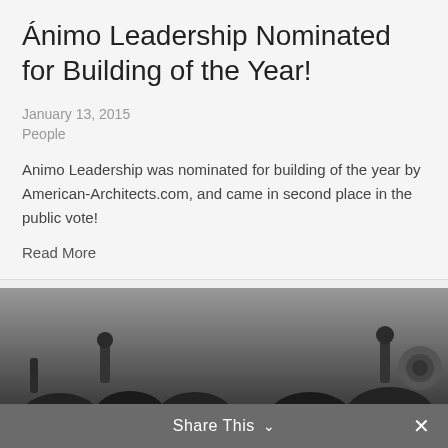Ánimo Leadership Nominated for Building of the Year!
January 13, 2015
People
Animo Leadership was nominated for building of the year by American-Architects.com, and came in second place in the public vote!
Read More
[Figure (photo): Black and white photo of a crowd of people at what appears to be a rally or demonstration, with someone holding up a sign]
Share This ✓